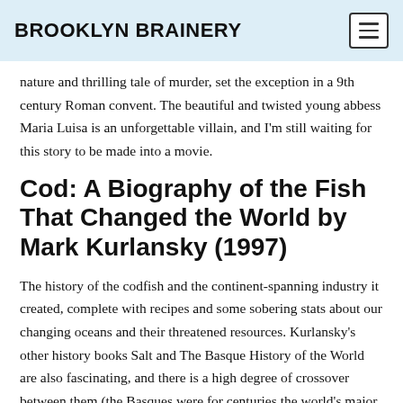BROOKLYN BRAINERY
nature and thrilling tale of murder, set the exception in a 9th century Roman convent. The beautiful and twisted young abbess Maria Luisa is an unforgettable villain, and I'm still waiting for this story to be made into a movie.
Cod: A Biography of the Fish That Changed the World by Mark Kurlansky (1997)
The history of the codfish and the continent-spanning industry it created, complete with recipes and some sobering stats about our changing oceans and their threatened resources. Kurlansky's other history books Salt and The Basque History of the World are also fascinating, and there is a high degree of crossover between them (the Basques were for centuries the world's major suppliers of